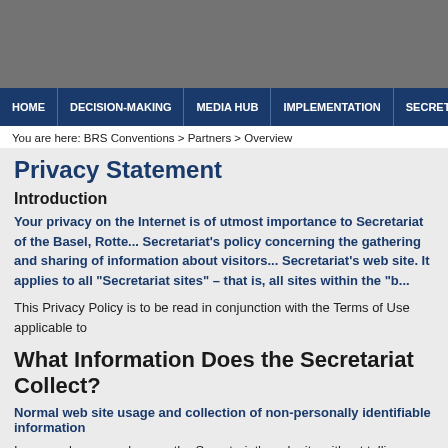HOME | DECISION-MAKING | MEDIA HUB | IMPLEMENTATION | SECRETARIAT
You are here: BRS Conventions > Partners > Overview
Privacy Statement
Introduction
Your privacy on the Internet is of utmost importance to Secretariat of the Basel, Rotte... Secretariat's policy concerning the gathering and sharing of information about visitors... Secretariat's web site. It applies to all "Secretariat sites" – that is, all sites within the "b...
This Privacy Policy is to be read in conjunction with the Terms of Use applicable to
What Information Does the Secretariat Collect?
Normal web site usage and collection of non-personally identifiable information
In general, you can browse the Secretariat's web site without telling us who you are...